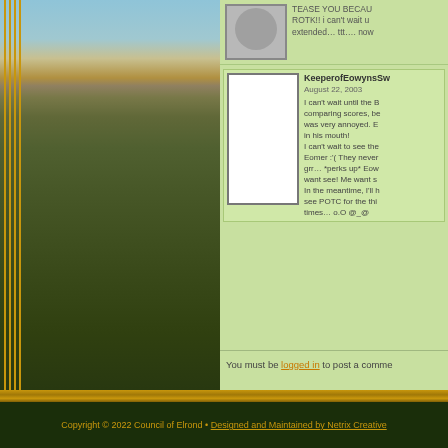[Figure (photo): Landscape photo showing rocky cliffs and grasslands with sky, partially visible on left side of page. Gold border lines overlay the left edge.]
TEASE YOU BECAU... ROTK!! i can't wait u... extended… ttt…. now
KeeperofEowynsSwv
August 22, 2003
I can't wait until the B... comparing scores, be... was very annoyed. E... in his mouth!
I can't wait to see the... Eomer :'( They never... grr… *perks up* Eow... want see! Me want s... In the meantime, I'll h... see POTC for the thi... times… o.O @_@
You must be logged in to post a comme...
Copyright © 2022 Council of Elrond • Designed and Maintained by Netrix Creative